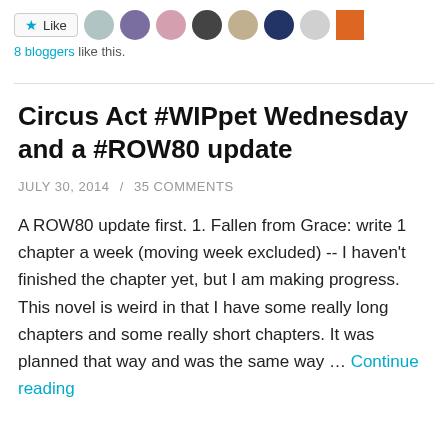[Figure (other): Like button with star icon and 8 blogger avatar thumbnails]
8 bloggers like this.
Circus Act #WIPpet Wednesday and a #ROW80 update
JULY 30, 2014 / 35 COMMENTS
A ROW80 update first. 1. Fallen from Grace: write 1 chapter a week (moving week excluded) -- I haven't finished the chapter yet, but I am making progress. This novel is weird in that I have some really long chapters and some really short chapters. It was planned that way and was the same way ... Continue reading